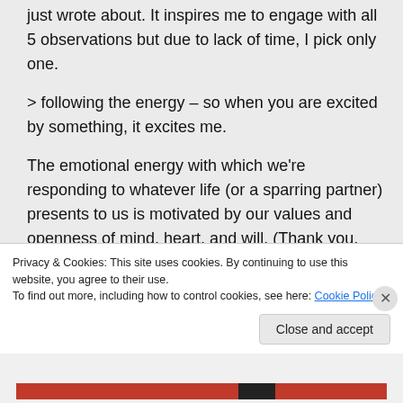just wrote about. It inspires me to engage with all 5 observations but due to lack of time, I pick only one.
> following the energy – so when you are excited by something, it excites me.
The emotional energy with which we're responding to whatever life (or a sparring partner) presents to us is motivated by our values and openness of mind, heart, and will. (Thank you, Otto Scharmer, for helping
Privacy & Cookies: This site uses cookies. By continuing to use this website, you agree to their use.
To find out more, including how to control cookies, see here: Cookie Policy
Close and accept